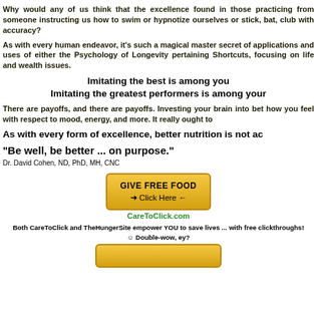Why would any of us think that the excellence found in those practicing from someone instructing us how to swim or hypnotize ourselves or stick, bat, club with accuracy?
As with every human endeavor, it's such a magical master secret of applications and uses of either the Psychology of Longevity pertaining Shortcuts, focusing on life and wealth issues.
Imitating the best is among you
Imitating the greatest performers is among your
There are payoffs, and there are payoffs. Investing your brain into bet how you feel with respect to mood, energy, and more. It really ought to
As with every form of excellence, better nutrition is not ac
"Be well, be better ... on purpose."
Dr. David Cohen, ND, PhD, MH, CNC
[Figure (other): Golden yellow button with text GIVE FREE FOOD and arrow Click Here arrow]
CareToClick.com
Both CareToClick and TheHungerSite empower YOU to save lives ... with free clickthroughs!
☺ Double-wow, ey?
[Figure (other): Second golden yellow button partially visible at bottom]